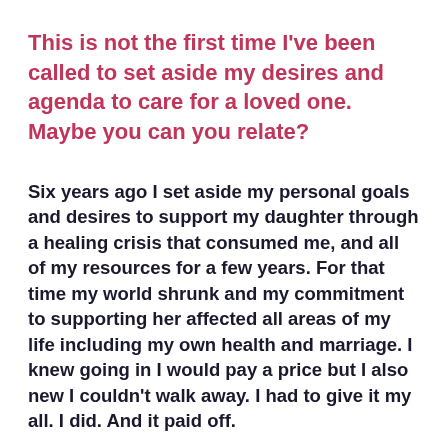This is not the first time I've been called to set aside my desires and agenda to care for a loved one.  Maybe you can you relate?
Six years ago I set aside my personal goals and desires to support my daughter through a healing crisis that consumed me, and all of my resources for a few years. For that time my world shrunk and my commitment to supporting her affected all areas of my life including my own health and marriage. I knew going in I would pay a price but I also new I couldn't walk away. I had to give it my all. I did. And it paid off.